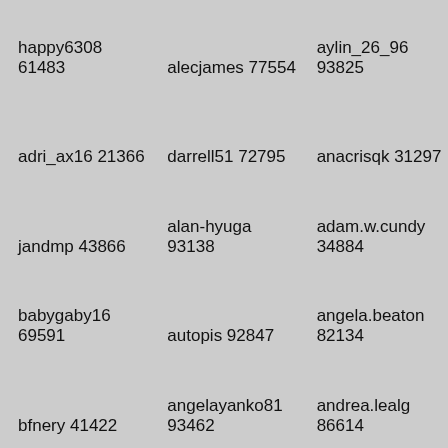happy6308 61483
alecjames 77554
aylin_26_96 93825
adri_ax16 21366
darrell51 72795
anacrisqk 31297
jandmp 43866
alan-hyuga 93138
adam.w.cundy 34884
babygaby16 69591
autopis 92847
angela.beaton 82134
bfnery 41422
angelayanko81 93462
andrea.lealg 86614